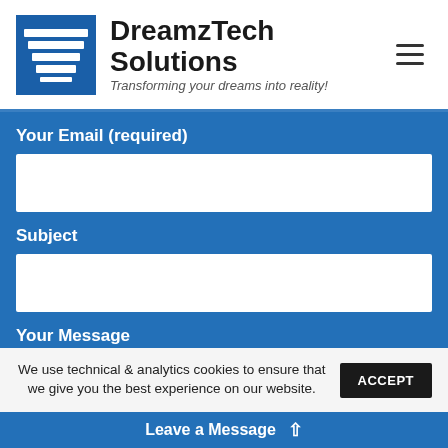DreamzTech Solutions — Transforming your dreams into reality!
Your Email (required)
[Figure (other): Empty text input field for email]
Subject
[Figure (other): Empty text input field for subject]
Your Message
[Figure (other): Empty textarea field for message]
We use technical & analytics cookies to ensure that we give you the best experience on our website.
ACCEPT
Leave a Message